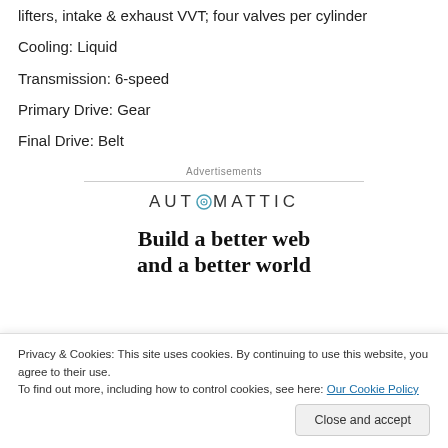lifters, intake & exhaust VVT; four valves per cylinder
Cooling: Liquid
Transmission: 6-speed
Primary Drive: Gear
Final Drive: Belt
[Figure (other): Automattic advertisement banner with logo and text 'Build a better web and a better world']
Privacy & Cookies: This site uses cookies. By continuing to use this website, you agree to their use.
To find out more, including how to control cookies, see here: Our Cookie Policy